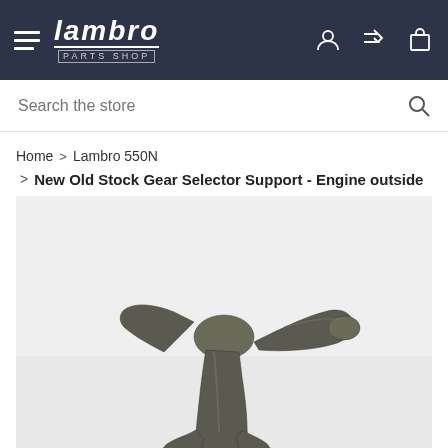Lambro Parts Shop — navigation bar with hamburger menu, logo, and icons
Search the store
Home > Lambro 550N > New Old Stock Gear Selector Support - Engine outside cabin
[Figure (photo): A metal gear selector support part (New Old Stock) for a Lambro 550N engine outside cabin configuration. The part is dark grey/gunmetal colored, T-shaped with a round knob handle, photographed against a light grey background.]